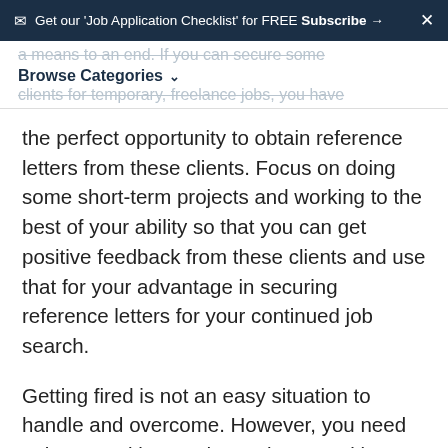Get our 'Job Application Checklist' for FREE Subscribe → ×
a means to an end. If you can secure some clients for temporary, freelance jobs, you have the perfect opportunity to obtain reference letters from these clients. Focus on doing some short-term projects and working to the best of your ability so that you can get positive feedback from these clients and use that for your advantage in securing reference letters for your continued job search.
Browse Categories
Getting fired is not an easy situation to handle and overcome. However, you need to keep working, and securing a positive reference